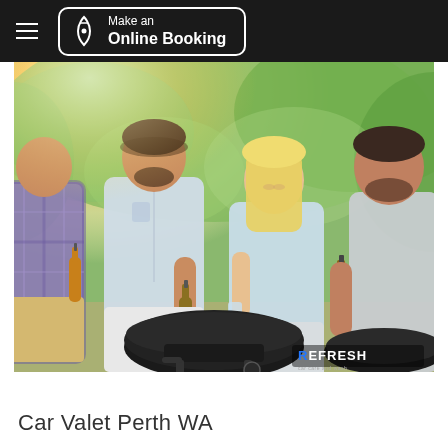Make an Online Booking
[Figure (photo): Group of four young adults socializing outdoors at a BBQ/barbecue gathering on a sunny day. They are smiling and holding beer bottles, standing around a black kettle barbecue grill. The background shows lush green trees with bright sunlight. The REFRESH logo/watermark appears in the bottom-right corner of the image.]
Car Valet Perth WA